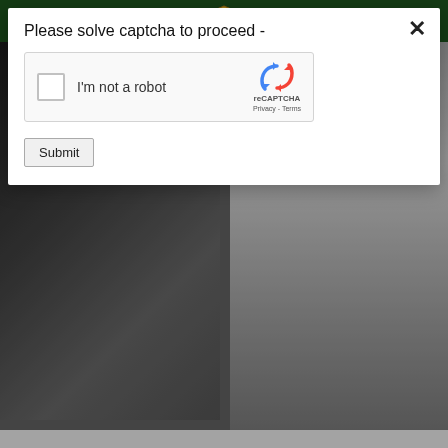[Figure (screenshot): Dark green website navigation bar with hamburger menu icon on left, shield/crest logo in center, search icon on right]
[Figure (screenshot): reCAPTCHA modal dialog with 'Please solve captcha to proceed -' text, reCAPTCHA checkbox widget showing 'I'm not a robot' label and reCAPTCHA logo, and a Submit button]
[Figure (photo): Left background photo showing a man in dark suit with woman in white dress, partially obscured by modal]
[Figure (photo): Right background photo showing a man in black formal tailcoat suit standing against grey background]